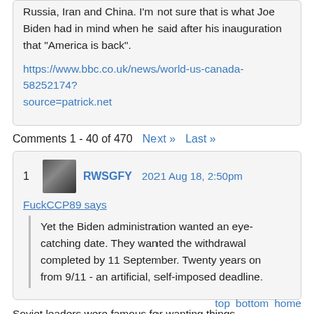Russia, Iran and China. I'm not sure that is what Joe Biden had in mind when he said after his inauguration that "America is back".
https://www.bbc.co.uk/news/world-us-canada-58252174?source=patrick.net
Comments 1 - 40 of 470  Next »  Last »
1  RWSGFY  2021 Aug 18, 2:50pm
FuckCCP89 says
Yet the Biden administration wanted an eye-catching date. They wanted the withdrawal completed by 11 September. Twenty years on from 9/11 - an artificial, self-imposed deadline.
Soviet leaders were famous for wanting things